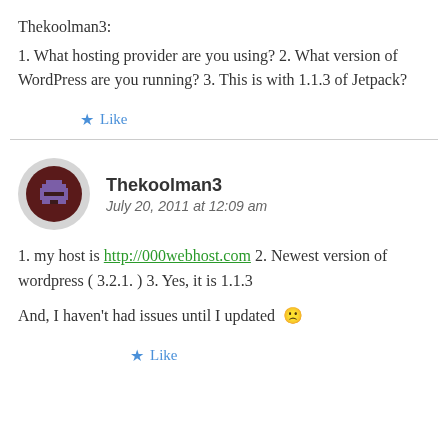Thekoolman3:
1. What hosting provider are you using? 2. What version of WordPress are you running? 3. This is with 1.1.3 of Jetpack?
★ Like
Thekoolman3
July 20, 2011 at 12:09 am
1. my host is http://000webhost.com 2. Newest version of wordpress ( 3.2.1. ) 3. Yes, it is 1.1.3
And, I haven't had issues until I updated 😐
★ Like